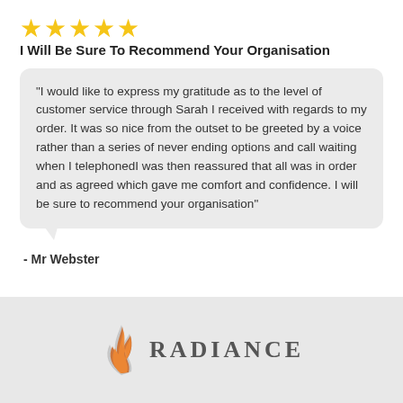[Figure (other): Five yellow star rating icons]
I Will Be Sure To Recommend Your Organisation
"I would like to express my gratitude as to the level of customer service through Sarah I received with regards to my order. It was so nice from the outset to be greeted by a voice rather than a series of never ending options and call waiting when I telephonedI was then reassured that all was in order and as agreed which gave me comfort and confidence. I will be sure to recommend your organisation"
- Mr Webster
[Figure (logo): Radiance company logo with flame icon and text RADIANCE]